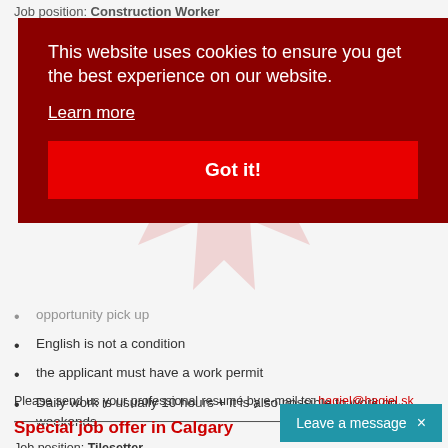Job position: Construction Worker
This website uses cookies to ensure you get the best experience on our website.
Learn more
Got it!
nce, in Four
opportunity pick up
English is not a condition
the applicant must have a work permit
Daily work is usually 10 hours + it is also possible to work on weekends
Please send us your professional resumé by e-mail to: hagiel@hagiel.sk
Special job offer in Calgary
Job position: Tilesetter
Conditions:
Leave a message ×